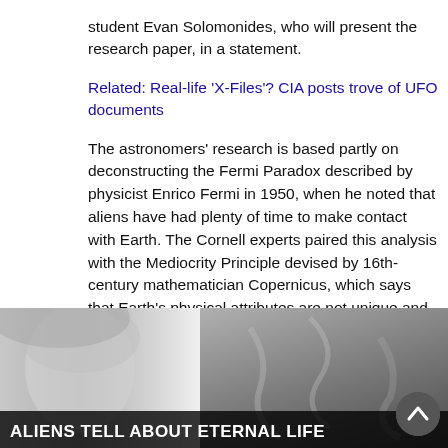student Evan Solomonides, who will present the research paper, in a statement.
Related: Real-life 'X-Files'? CIA posts trove of UFO documents
The astronomers' research is based partly on deconstructing the Fermi Paradox described by physicist Enrico Fermi in 1950, when he noted that aliens have had plenty of time to make contact with Earth. The Cornell experts paired this analysis with the Mediocrity Principle devised by 16th-century mathematician Copernicus, which says that Earth's physical attributes are not unique and that natural processes are likely common throughout the cosmos, so it could take a while for aliens to discover us. The resulting equation gives a 1,500-year estimate for
[Figure (photo): A video overlay/advertisement showing a woman's face on the left half and smoke/dark imagery on the right half. A label bar at the bottom reads 'ALIENS TELL ABOUT ETERNAL LIFE' with a close button (x) in the top right corner.]
t it becomes likely rom now," said that we appear to p listening or